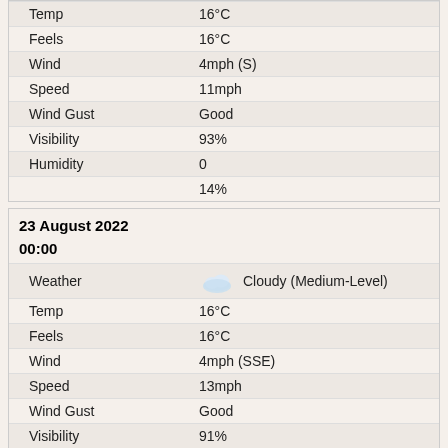| Field | Value |
| --- | --- |
| Temp | 16°C |
| Feels | 16°C |
| Wind | 4mph (S) |
| Speed | 11mph |
| Wind Gust | Good |
| Visibility | 93% |
| Humidity | 0 |
|  | 14% |
23 August 2022
00:00
| Field | Value |
| --- | --- |
| Weather | Cloudy (Medium-Level) |
| Temp | 16°C |
| Feels | 16°C |
| Wind | 4mph (SSE) |
| Speed | 13mph |
| Wind Gust | Good |
| Visibility | 91% |
| Humidity | 0 |
|  | 51% |
03:00
| Field | Value |
| --- | --- |
| Weather | Cloudy (Medium-Level) |
| Temp | 16°C |
| Feels | 15°C |
|  | 4mph (SSE) |